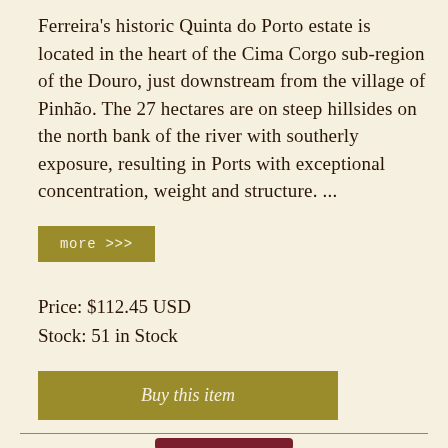Ferreira's historic Quinta do Porto estate is located in the heart of the Cima Corgo sub-region of the Douro, just downstream from the village of Pinhão. The 27 hectares are on steep hillsides on the north bank of the river with southerly exposure, resulting in Ports with exceptional concentration, weight and structure. ...
more >>>
Price: $112.45 USD
Stock: 51 in Stock
Buy this item
[Figure (photo): Top portion of a wine bottle with a dark red/maroon capsule visible at the bottom of the page]